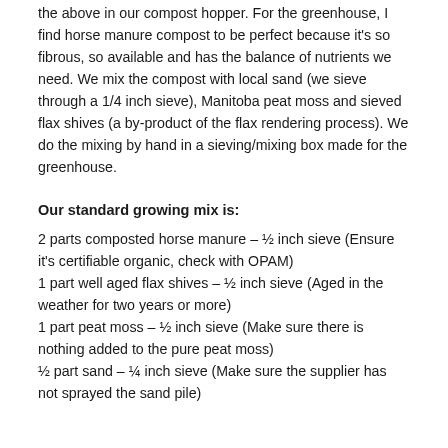the above in our compost hopper. For the greenhouse, I find horse manure compost to be perfect because it's so fibrous, so available and has the balance of nutrients we need. We mix the compost with local sand (we sieve through a 1/4 inch sieve), Manitoba peat moss and sieved flax shives (a by-product of the flax rendering process). We do the mixing by hand in a sieving/mixing box made for the greenhouse.
Our standard growing mix is:
2 parts composted horse manure – ½ inch sieve (Ensure it's certifiable organic, check with OPAM)
1 part well aged flax shives – ½ inch sieve (Aged in the weather for two years or more)
1 part peat moss – ½ inch sieve (Make sure there is nothing added to the pure peat moss)
½ part sand – ¼ inch sieve (Make sure the supplier has not sprayed the sand pile)